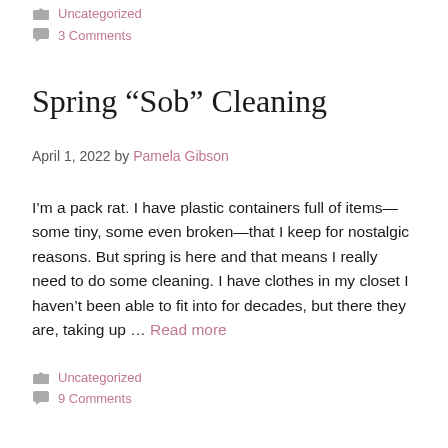Uncategorized
3 Comments
Spring “Sob” Cleaning
April 1, 2022 by Pamela Gibson
I’m a pack rat. I have plastic containers full of items—some tiny, some even broken—that I keep for nostalgic reasons. But spring is here and that means I really need to do some cleaning. I have clothes in my closet I haven’t been able to fit into for decades, but there they are, taking up … Read more
Uncategorized
9 Comments